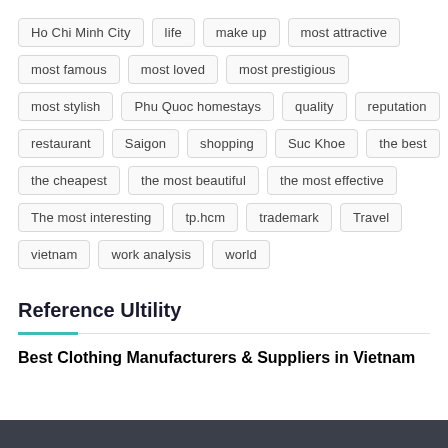Ho Chi Minh City
life
make up
most attractive
most famous
most loved
most prestigious
most stylish
Phu Quoc homestays
quality
reputation
restaurant
Saigon
shopping
Suc Khoe
the best
the cheapest
the most beautiful
the most effective
The most interesting
tp.hcm
trademark
Travel
vietnam
work analysis
world
Reference Ultility
Best Clothing Manufacturers & Suppliers in Vietnam